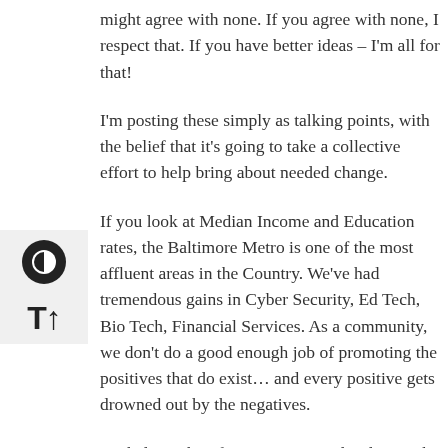might agree with none. If you agree with none, I respect that. If you have better ideas – I'm all for that!
I'm posting these simply as talking points, with the belief that it's going to take a collective effort to help bring about needed change.
If you look at Median Income and Education rates, the Baltimore Metro is one of the most affluent areas in the Country. We've had tremendous gains in Cyber Security, Ed Tech, Bio Tech, Financial Services. As a community, we don't do a good enough job of promoting the positives that do exist… and every positive gets drowned out by the negatives.
We believe that if you grew up and/or live in the